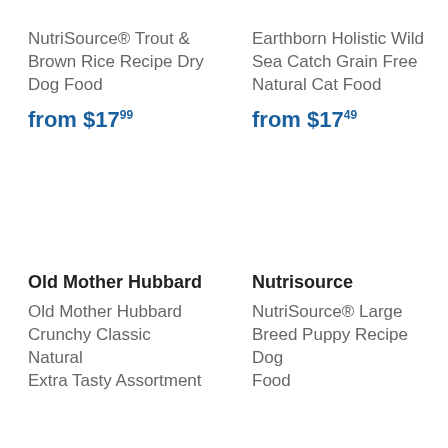NutriSource® Trout & Brown Rice Recipe Dry Dog Food
from $17.99
Earthborn Holistic Wild Sea Catch Grain Free Natural Cat Food
from $17.49
Old Mother Hubbard
Old Mother Hubbard Crunchy Classic Natural Extra Tasty Assortment
Nutrisource
NutriSource® Large Breed Puppy Recipe Dog Food